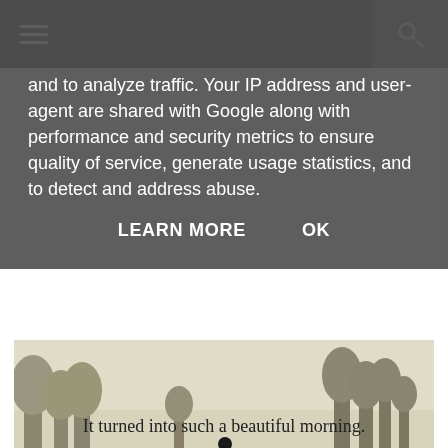[Navigation bar with menu and search icons]
and to analyze traffic. Your IP address and user-agent are shared with Google along with performance and security metrics to ensure quality of service, generate usage statistics, and to detect and address abuse.
LEARN MORE   OK
[Figure (photo): A person walking alone across a wide open grassy park or meadow on a misty morning. Bare trees are visible in the background under a pale sky. The figure casts a long shadow on the grass.]
It turned into such a beautiful morning.